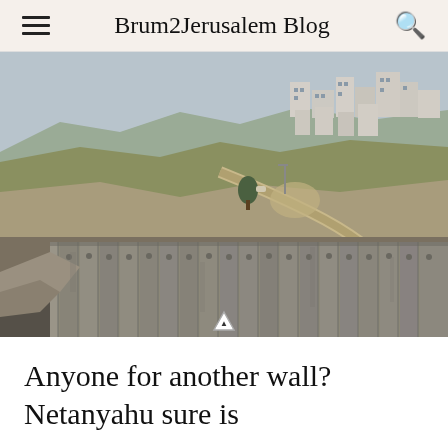Brum2Jerusalem Blog
[Figure (photo): Aerial/ground-level photograph of the Israeli West Bank separation wall (tall concrete barrier panels) curving along a road in the foreground, with hilly terrain and residential buildings visible in the background.]
Anyone for another wall? Netanyahu sure is